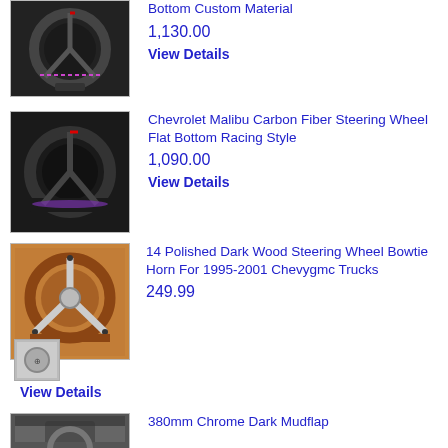[Figure (photo): Carbon fiber steering wheel with red accents, flat bottom style]
Bottom Custom Material
1,130.00
View Details
[Figure (photo): Chevrolet Malibu carbon fiber steering wheel flat bottom racing style with red stripe]
Chevrolet Malibu Carbon Fiber Steering Wheel Flat Bottom Racing Style
1,090.00
View Details
[Figure (photo): 14 inch polished dark wood steering wheel with chrome spokes, small thumbnail of horn button]
14 Polished Dark Wood Steering Wheel Bowtie Horn For 1995-2001 Chevygmc Trucks
249.99
View Details
[Figure (photo): 380mm Chrome Dark Mudflap steering wheel, partial view]
380mm Chrome Dark Mudflap